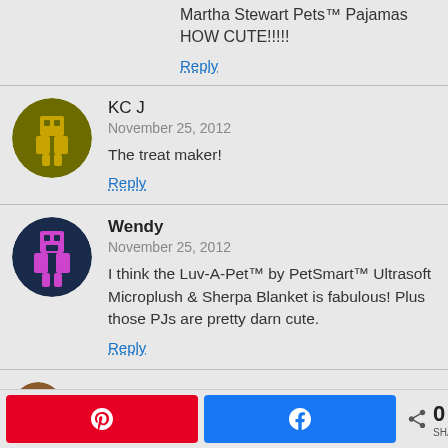Martha Stewart Pets™ Pajamas HOW CUTE!!!!!
Reply
KC J
November 25, 2012
The treat maker!
Reply
Wendy
November 25, 2012
I think the Luv-A-Pet™ by PetSmart™ Ultrasoft Microplush & Sherpa Blanket is fabulous! Plus those PJs are pretty darn cute.
Reply
0 SHARES